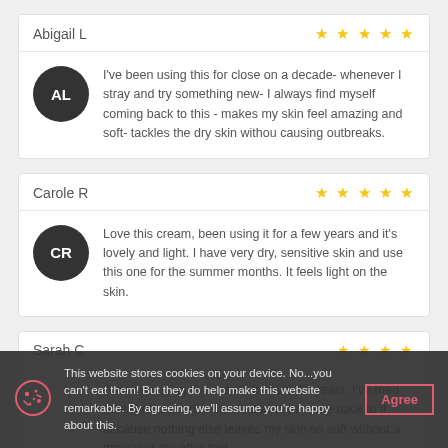Abigail L
★★★★★
I've been using this for close on a decade- whenever I stray and try something new- I always find myself coming back to this - makes my skin feel amazing and soft- tackles the dry skin withou causing outbreaks.
Carole R
★★★★★
Love this cream, been using it for a few years and it's lovely and light. I have very dry, sensitive skin and use this one for the summer months. It feels light on the skin.
Sarah C
★★★★
I've been using this cream for over 10 years. I've tried other brands in this time but always come back to it because nothing else leaves my skin so soft without a greasy or dry after feel.
This website stores cookies on your device. No...you can't eat them! But they do help make this website remarkable. By agreeing, we'll assume you're happy about this.
Agree